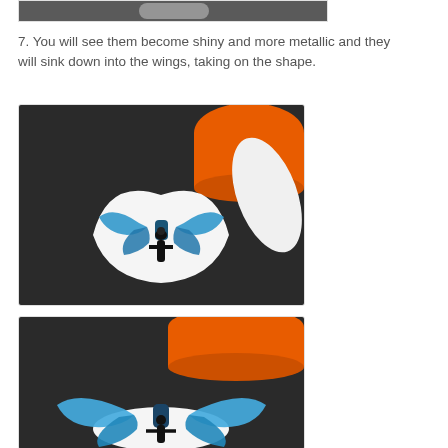[Figure (photo): Partial top image cropped at top of page showing a dark surface]
7. You will see them become shiny and more metallic and they will sink down into the wings, taking on the shape.
[Figure (photo): Photo showing a guitar pick-shaped white object with a shiny blue metallic butterfly/bow shape and black figure on top, next to an orange container and white cloth on a dark surface]
[Figure (photo): Photo showing a close-up of the guitar pick with blue metallic wings shape spreading out, placed next to orange container on dark surface]